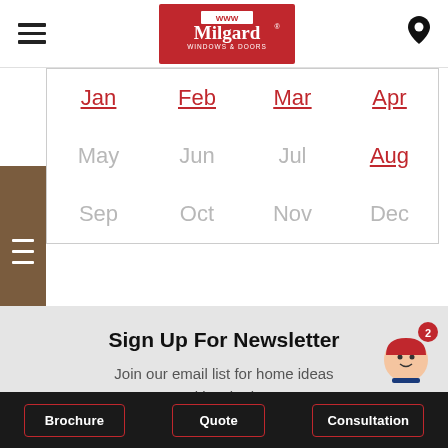[Figure (logo): Milgard Windows & Doors logo on red background in top navigation bar]
| Jan | Feb | Mar | Apr |
| May | Jun | Jul | Aug |
| Sep | Oct | Nov | Dec |
Sign Up For Newsletter
Join our email list for home ideas and inspiration.
Brochure | Quote | Consultation